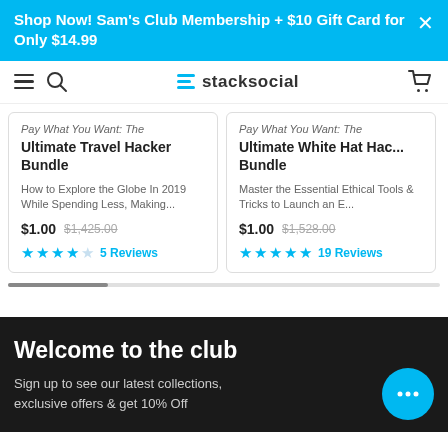Shop Now! Sam's Club Membership + $10 Gift Card for Only $14.99
[Figure (screenshot): StackSocial website navigation bar with hamburger menu, search icon, StackSocial logo, and cart icon]
Pay What You Want: The Ultimate Travel Hacker Bundle
How to Explore the Globe In 2019 While Spending Less, Making...
$1.00  $1,425.00
★★★★☆ 5 Reviews
Pay What You Want: The Ultimate White Hat Hacker Bundle
Master the Essential Ethical Tools & Tricks to Launch an E...
$1.00  $1,528.00
★★★★★ 19 Reviews
Welcome to the club
Sign up to see our latest collections, exclusive offers & get 10% Off